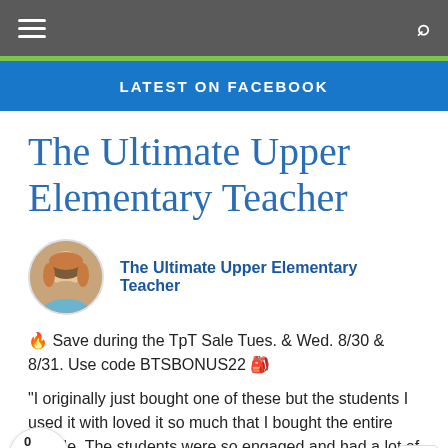LATEST ON FACEBOOK
The Ultimate Upper Elementary Teacher
The Ultimate Upper Elementary Teacher
🔥 Save during the TpT Sale Tues. & Wed. 8/30 & 8/31. Use code BTSBONUS22 🎒
"I originally just bought one of these but the students I used it with loved it so much that I bought the entire bundle. The students were so engaged and had a lot of fun with it. These will make for great review activities, sub plans, early